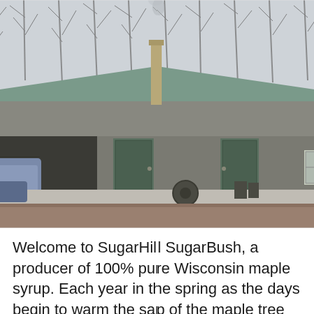[Figure (photo): Exterior photo of a large agricultural building (sugar shack/maple syrup facility) with a green metal roof and a tall metal chimney/stack emitting smoke. The building is tan/brown colored with a large open garage door, two regular doors, and two windows. Various equipment and containers are visible in and around the building. Bare winter trees are visible in the background against an overcast sky. Sandy/dirt ground in foreground.]
Welcome to SugarHill SugarBush, a producer of 100% pure Wisconsin maple syrup. Each year in the spring as the days begin to warm the sap of the maple tree flows from the roots of the tree up to the crown of the tree as the tree comes to life from its long winter sleep. This sap which contains sugars gives the tree the food it needs to begin the process of growing